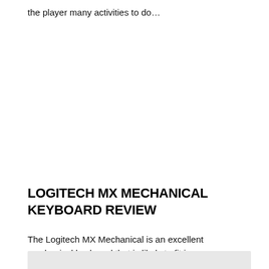the player many activities to do…
LOGITECH MX MECHANICAL KEYBOARD REVIEW
The Logitech MX Mechanical is an excellent mechanical keyboard that is likely to fit in any workspace or home office.
[Figure (photo): Partial image visible at the bottom of the page, appears to be a product photo]